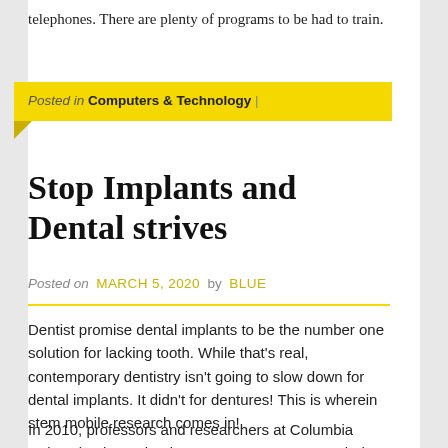telephones. There are plenty of programs to be had to train.
Posted in Computers & Technology |
Stop Implants and Dental strives
Posted on MARCH 5, 2020 by BLUE
Dentist promise dental implants to be the number one solution for lacking tooth. While that's real, contemporary dentistry isn't going to slow down for dental implants. It didn't for dentures! This is wherein stem mobile research comes in!
In 2010, professors and researchers at Columbia University determined a manner to create a teeth the